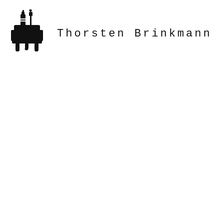[Figure (logo): Black silhouette logo of an armchair with a bottle and fork/utensil sticking out of the top, with drips at the bottom. Appears to be a stylized restaurant or design studio logo.]
Thorsten Brinkmann